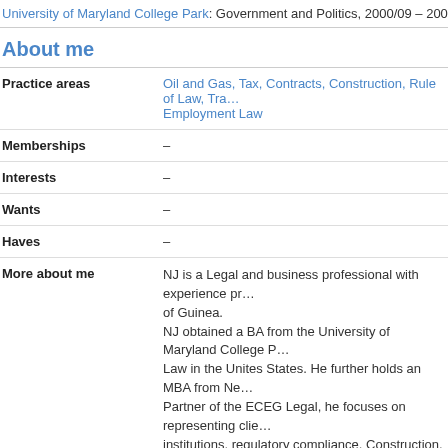University of Maryland College Park: Government and Politics, 2000/09 – 200…
About me
| Field | Value |
| --- | --- |
| Practice areas | Oil and Gas, Tax, Contracts, Construction, Rule of Law, Tra… Employment Law |
| Memberships | – |
| Interests | – |
| Wants | – |
| Haves | – |
| More about me | NJ is a Legal and business professional with experience pr… of Guinea. NJ obtained a BA from the University of Maryland College … Law in the Unites States. He further holds an MBA from Ne… Partner of the ECEG Legal, he focuses on representing clie… institutions, regulatory compliance, Construction, project fin… businesses in Equatorial Guinea, business transactions as… legal and strategic advise on negotiation for the structuring… and the Gulf of Guinea. NJ began his legal career with Houston based Bakerbotts L… entrée into the oil and gas sector and international busines… |